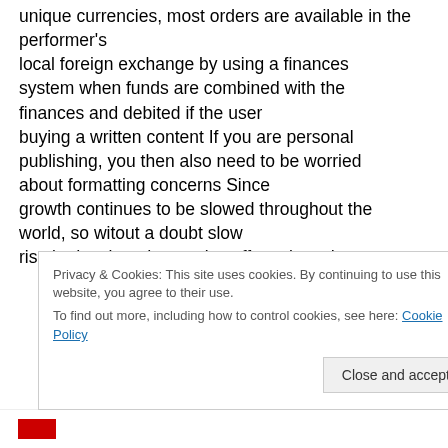unique currencies, most orders are available in the performer's local foreign exchange by using a finances system when funds are combined with the finances and debited if the user buying a written content If you are personal publishing, you then also need to be worried about formatting concerns Since growth continues to be slowed throughout the world, so witout a doubt slow rise in developed countries offers slowed even
Privacy & Cookies: This site uses cookies. By continuing to use this website, you agree to their use.
To find out more, including how to control cookies, see here: Cookie Policy
Close and accept